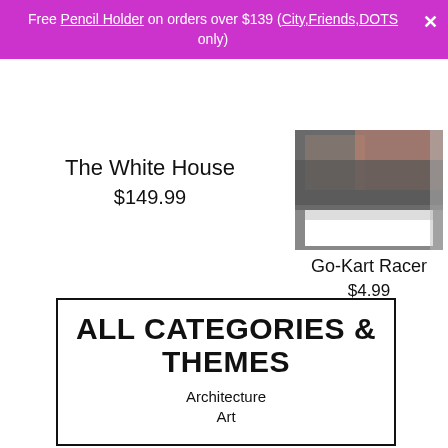Free Pencil Holder on orders over $139 (City,Friends,DOTS only)
The White House
$149.99
[Figure (photo): Partial photo of a book or print product with white border, showing a dark/colorful image partially visible]
Go-Kart Racer
$4.99
ALL CATEGORIES & THEMES
Architecture
Art